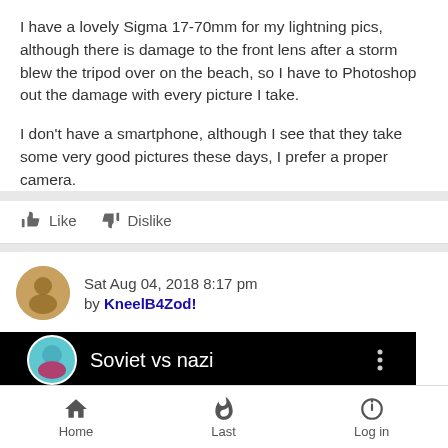I have a lovely Sigma 17-70mm for my lightning pics, although there is damage to the front lens after a storm blew the tripod over on the beach, so I have to Photoshop out the damage with every picture I take.

I don't have a smartphone, although I see that they take some very good pictures these days, I prefer a proper camera.
Like   Dislike
Sat Aug 04, 2018 8:17 pm
by KneelB4Zod!
[Figure (screenshot): Video thumbnail showing 'Soviet vs nazi' title with a blue-faced avatar icon on dark/black background with two people visible in background scene]